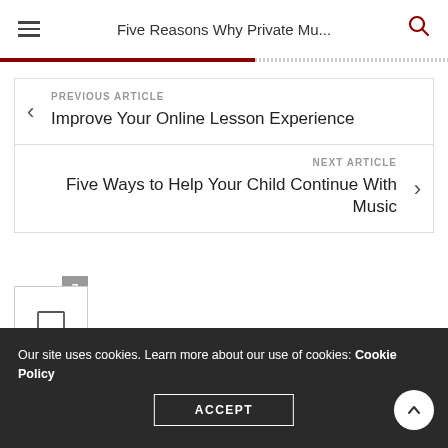Five Reasons Why Private Mu...
PREVIOUS ARTICLE
Improve Your Online Lesson Experience
NEXT ARTICLE
Five Ways to Help Your Child Continue With Music
[Figure (other): Comments button with badge showing 7 comments]
Our site uses cookies. Learn more about our use of cookies: Cookie Policy